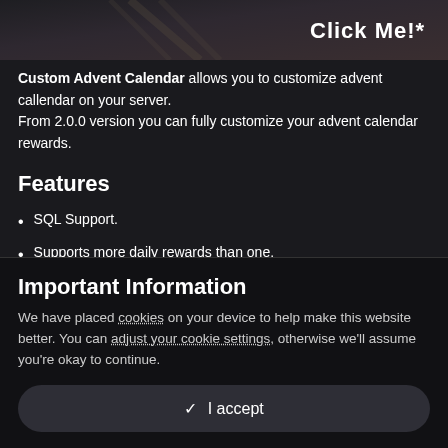[Figure (screenshot): Dark banner image with 'Click Me!*' text overlay on a moody dark background]
Custom Advent Calendar allows you to customize advent callendar on your server.
From 2.0.0 version you can fully customize your advent calendar rewards.
Features
SQL Support.
Supports more daily rewards than one.
Supports custom names, skins and random amounts of rewards.
Player-based day counter (Global still
Important Information
We have placed cookies on your device to help make this website better. You can adjust your cookie settings, otherwise we'll assume you're okay to continue.
I accept